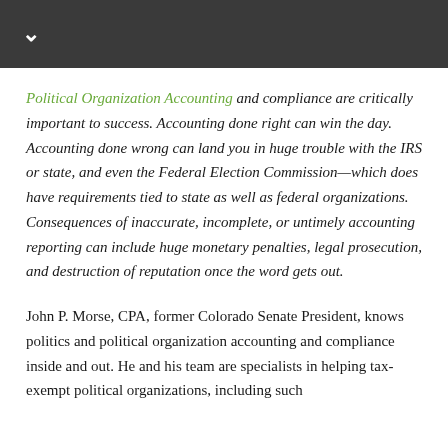Political Organization Accounting and compliance are critically important to success. Accounting done right can win the day. Accounting done wrong can land you in huge trouble with the IRS or state, and even the Federal Election Commission—which does have requirements tied to state as well as federal organizations. Consequences of inaccurate, incomplete, or untimely accounting reporting can include huge monetary penalties, legal prosecution, and destruction of reputation once the word gets out.
John P. Morse, CPA, former Colorado Senate President, knows politics and political organization accounting and compliance inside and out. He and his team are specialists in helping tax-exempt political organizations, including such